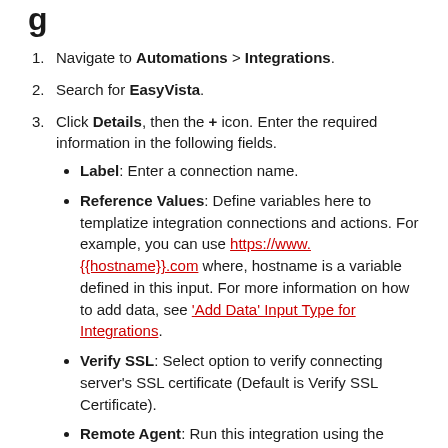Navigate to Automations > Integrations.
Search for EasyVista.
Click Details, then the + icon. Enter the required information in the following fields.
Label: Enter a connection name.
Reference Values: Define variables here to templatize integration connections and actions. For example, you can use https://www.{{hostname}}.com where, hostname is a variable defined in this input. For more information on how to add data, see 'Add Data' Input Type for Integrations.
Verify SSL: Select option to verify connecting server's SSL certificate (Default is Verify SSL Certificate).
Remote Agent: Run this integration using the